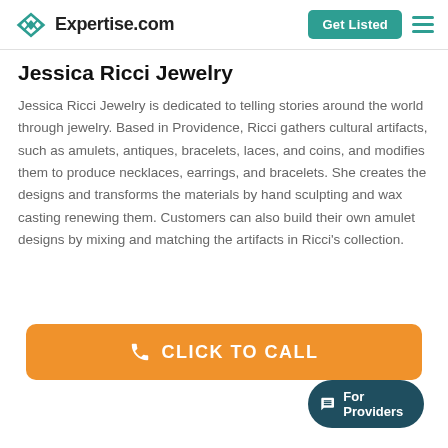Expertise.com
Jessica Ricci Jewelry
Jessica Ricci Jewelry is dedicated to telling stories around the world through jewelry. Based in Providence, Ricci gathers cultural artifacts, such as amulets, antiques, bracelets, laces, and coins, and modifies them to produce necklaces, earrings, and bracelets. She creates the designs and transforms the materials by hand sculpting and wax casting renewing them. Customers can also build their own amulet designs by mixing and matching the artifacts in Ricci's collection.
[Figure (other): Orange call-to-action button with phone icon and text CLICK TO CALL]
[Figure (other): Dark teal For Providers chat bubble button in bottom right corner]